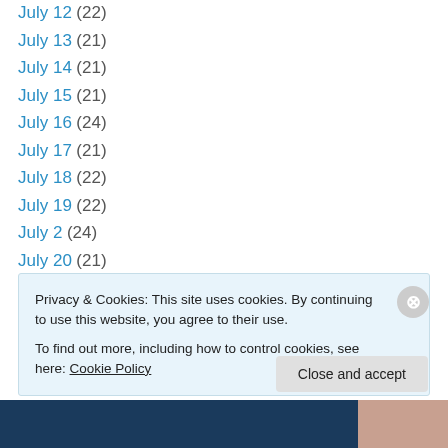July 12 (22)
July 13 (21)
July 14 (21)
July 15 (21)
July 16 (24)
July 17 (21)
July 18 (22)
July 19 (22)
July 2 (24)
July 20 (21)
July 21 (22)
July 22 (21)
July 23 (23)
Privacy & Cookies: This site uses cookies. By continuing to use this website, you agree to their use. To find out more, including how to control cookies, see here: Cookie Policy
Close and accept